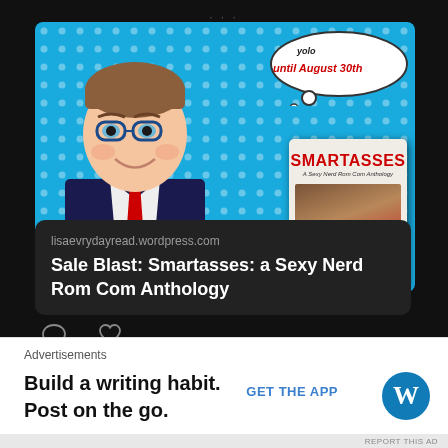[Figure (screenshot): Social media post showing a pop-art style illustration of a man in a suit with glasses and red tie on a blue polka-dot background, with a speech bubble reading 'until August 30th' and a book cover for 'SMARTASSES: A Sexy Nerd Rom Com Anthology']
lisaevrydayread.wordpress.com
Sale Blast: Smartasses: a Sexy Nerd Rom Com Anthology
Advertisements
Build a writing habit. Post on the go.
GET THE APP